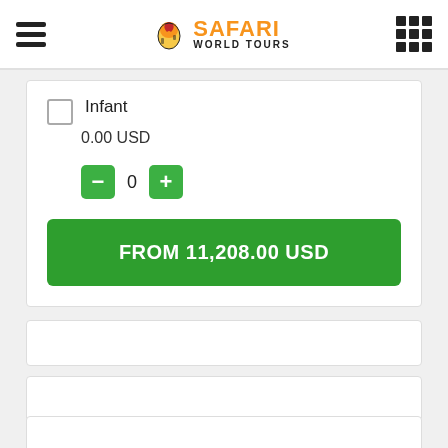Safari World Tours
Infant
0.00 USD
0
FROM 11,208.00 USD